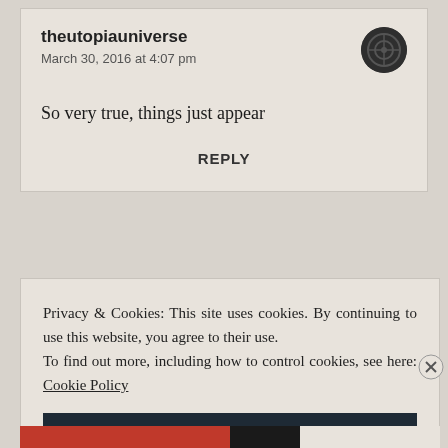theutopiauniverse
March 30, 2016 at 4:07 pm
So very true, things just appear
REPLY
Privacy & Cookies: This site uses cookies. By continuing to use this website, you agree to their use. To find out more, including how to control cookies, see here: Cookie Policy
Close and accept